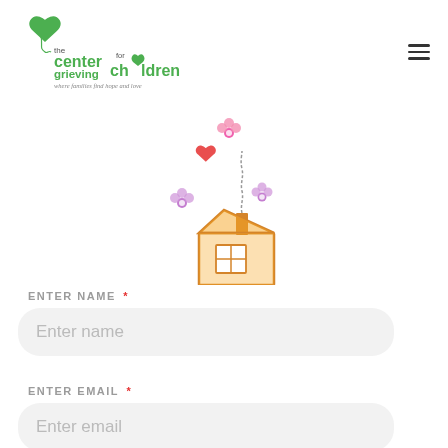[Figure (logo): The Center for Grieving Children logo with a green heart and cursive text reading 'where families find hope and love']
[Figure (illustration): Child's crayon drawing of a house with a chimney, flowers, and a heart floating above it]
ENTER NAME *
Enter name
ENTER EMAIL *
Enter email